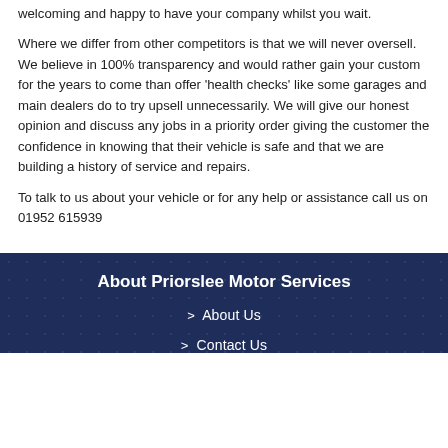welcoming and happy to have your company whilst you wait.
Where we differ from other competitors is that we will never oversell. We believe in 100% transparency and would rather gain your custom for the years to come than offer 'health checks' like some garages and main dealers do to try upsell unnecessarily. We will give our honest opinion and discuss any jobs in a priority order giving the customer the confidence in knowing that their vehicle is safe and that we are building a history of service and repairs.
To talk to us about your vehicle or for any help or assistance call us on 01952 615939
About Priorslee Motor Services
About Us
Contact Us